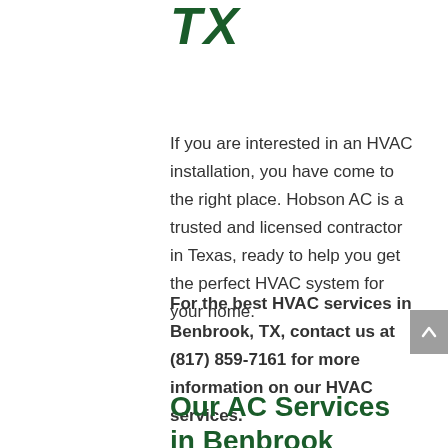TX
If you are interested in an HVAC installation, you have come to the right place. Hobson AC is a trusted and licensed contractor in Texas, ready to help you get the perfect HVAC system for your home.
For the best HVAC services in Benbrook, TX, contact us at (817) 859-7161 for more information on our HVAC services.
Our AC Services in Benbrook